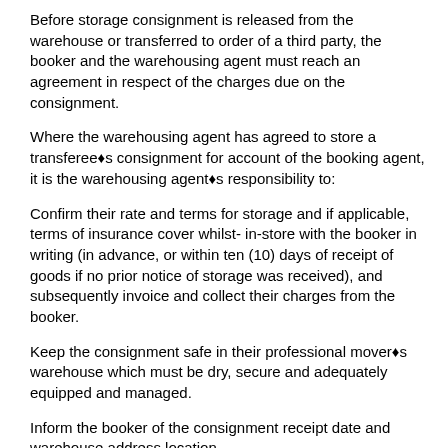Before storage consignment is released from the warehouse or transferred to order of a third party, the booker and the warehousing agent must reach an agreement in respect of the charges due on the consignment.
Where the warehousing agent has agreed to store a transferee◆s consignment for account of the booking agent, it is the warehousing agent◆s responsibility to:
Confirm their rate and terms for storage and if applicable, terms of insurance cover whilst- in-store with the booker in writing (in advance, or within ten (10) days of receipt of goods if no prior notice of storage was received), and subsequently invoice and collect their charges from the booker.
Keep the consignment safe in their professional mover◆s warehouse which must be dry, secure and adequately equipped and managed.
Inform the booker of the consignment receipt date and warehouse address location.
Provide a receipted descriptive packing list (for loose-packed consignment), noting any